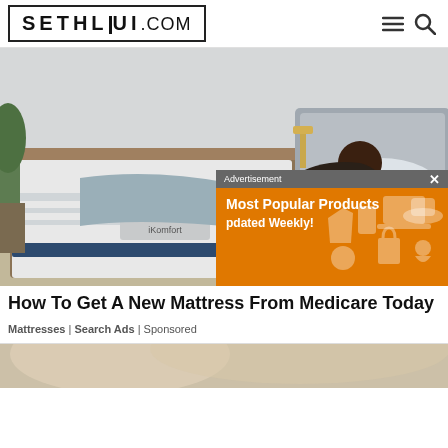SETHLUI.COM
[Figure (photo): A woman lying on a Serta iComfort mattress on an adjustable bed frame in a modern bedroom setting, with an advertisement overlay showing 'Most Popular Products Updated Weekly!']
How To Get A New Mattress From Medicare Today
Mattresses | Search Ads | Sponsored
[Figure (photo): Partial bottom image strip showing what appears to be a person or hair, cropped at the bottom of the page]